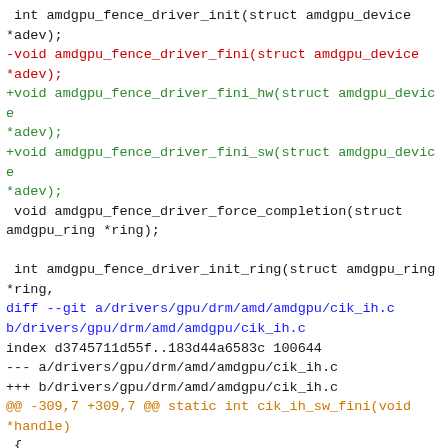int amdgpu_fence_driver_init(struct amdgpu_device *adev);
-void amdgpu_fence_driver_fini(struct amdgpu_device *adev);
+void amdgpu_fence_driver_fini_hw(struct amdgpu_device *adev);
+void amdgpu_fence_driver_fini_sw(struct amdgpu_device *adev);
 void amdgpu_fence_driver_force_completion(struct amdgpu_ring *ring);

 int amdgpu_fence_driver_init_ring(struct amdgpu_ring *ring,
diff --git a/drivers/gpu/drm/amd/amdgpu/cik_ih.c b/drivers/gpu/drm/amd/amdgpu/cik_ih.c
index d3745711d55f..183d44a6583c 100644
--- a/drivers/gpu/drm/amd/amdgpu/cik_ih.c
+++ b/drivers/gpu/drm/amd/amdgpu/cik_ih.c
@@ -309,7 +309,7 @@ static int cik_ih_sw_fini(void *handle)
 {
        struct amdgpu_device *adev = (struct amdgpu_device *)handle;

-       amdgpu_irq_fini(adev);
+       amdgpu_irq_fini_sw(adev);
       amdgpu_ih_ring_fini(adev, &adev->irq.ih);
       amdgpu_irq_remove_domain(adev);

...